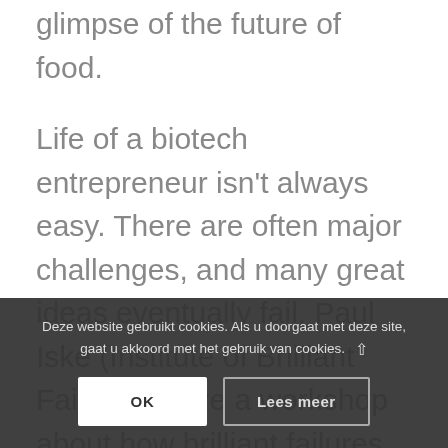glimpse of the future of food.
Life of a biotech entrepreneur isn't always easy. There are often major challenges, and many great ideas eventually fail. Paul Iske (Institute of Brilliant Failures) gave a workshop about how brilliant failures can be turned into brilliant successes. He showed the audience several ways and options how plans fail and why this could be very good news, too.
Jan-Willem Plomp (Kempen & Co) and Geraldine O'Keefe (LSP) discussed a 'new' financing trend that has come over from the United States... Special Purpose Acquisition Companies, known as SP... explained the financing model gave insights in the accumula...
Deze website gebruikt cookies. Als u doorgaat met deze site, gaat u akkoord met het gebruik van cookies.